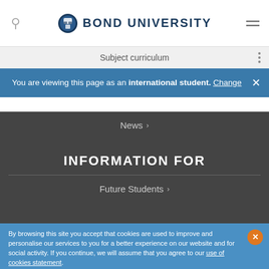BOND UNIVERSITY
Subject curriculum
You are viewing this page as an international student. Change
News
INFORMATION FOR
Future Students
By browsing this site you accept that cookies are used to improve and personalise our services to you for a better experience on our website and for social activity. If you continue, we will assume that you agree to our use of cookies statement.